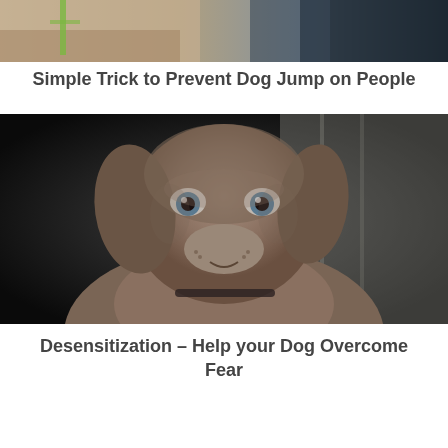[Figure (photo): Partial view of a dog with a green harness/leash, cropped at top of page]
Simple Trick to Prevent Dog Jump on People
[Figure (photo): Close-up portrait of a grey/silver Weimaraner puppy looking directly at the camera, with blue eyes, set against a dark background]
Desensitization – Help your Dog Overcome Fear